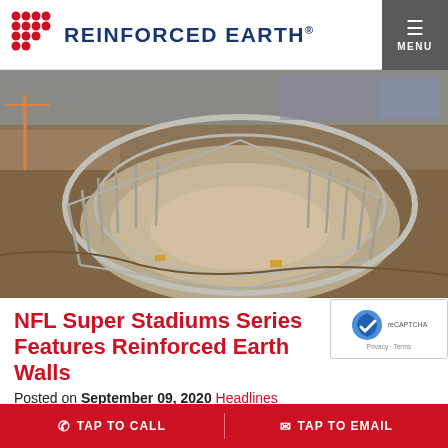REINFORCED EARTH®
[Figure (photo): Aerial view of a large NFL stadium under construction, showing the oval roof structure framework, concrete seating bowl, and surrounding construction site with dirt roads and equipment.]
NFL Super Stadiums Series Features Reinforced Earth Walls
Posted on September 09, 2020 Headlines
TAP TO CALL   TAP TO EMAIL